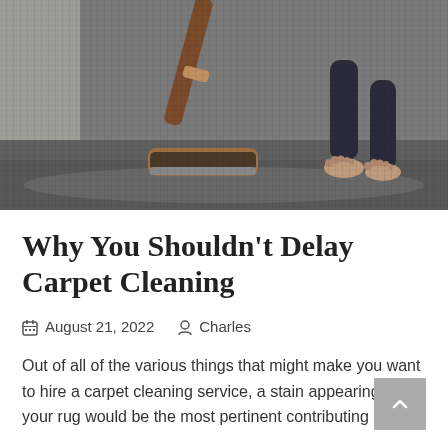[Figure (photo): Person vacuuming a dark gray carpet with a modern upright vacuum cleaner, bare feet visible in the background]
Why You Shouldn't Delay Carpet Cleaning
August 21, 2022   Charles
Out of all of the various things that might make you want to hire a carpet cleaning service, a stain appearing on your rug would be the most pertinent contributing